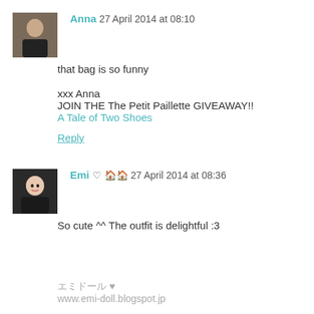[Figure (photo): Avatar photo of Anna, a person in dark clothing]
Anna 27 April 2014 at 08:10
that bag is so funny
xxx Anna
JOIN THE The Petit Paillette GIVEAWAY!!
A Tale of Two Shoes
Reply
[Figure (photo): Avatar photo of Emi, a person with dark hair]
Emi ♡ 🏠🏠 27 April 2014 at 08:36
So cute ^^ The outfit is delightful :3
エミドール ♥
www.emi-doll.blogspot.jp
Reply
[Figure (photo): Avatar photo of stylefrontier]
stylefrontier 27 April 2014 at 11:38